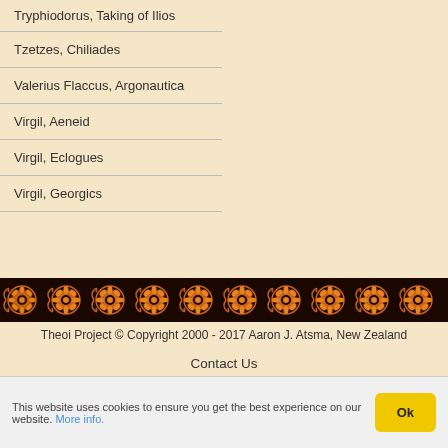| Tryphiodorus, Taking of Ilios |
| Tzetzes, Chiliades |
| Valerius Flaccus, Argonautica |
| Virgil, Aeneid |
| Virgil, Eclogues |
| Virgil, Georgics |
[Figure (illustration): Decorative Greek ornamental border with repeating orange floral/rosette medallions and scrollwork on black background]
Theoi Project © Copyright 2000 - 2017 Aaron J. Atsma, New Zealand
Contact Us
This website uses cookies to ensure you get the best experience on our website. More info.